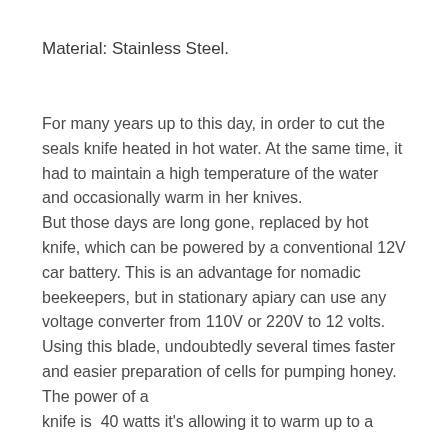Material: Stainless Steel.
For many years up to this day, in order to cut the seals knife heated in hot water. At the same time, it had to maintain a high temperature of the water and occasionally warm in her knives.
But those days are long gone, replaced by hot knife, which can be powered by a conventional 12V car battery. This is an advantage for nomadic beekeepers, but in stationary apiary can use any voltage converter from 110V or 220V to 12 volts. Using this blade, undoubtedly several times faster and easier preparation of cells for pumping honey. The power of a
knife is  40 watts it's allowing it to warm up to a